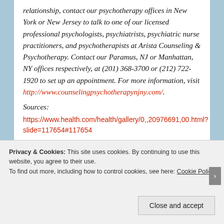relationship, contact our psychotherapy offices in New York or New Jersey to talk to one of our licensed professional psychologists, psychiatrists, psychiatric nurse practitioners, and psychotherapists at Arista Counseling & Psychotherapy. Contact our Paramus, NJ or Manhattan, NY offices respectively, at (201) 368-3700 or (212) 722-1920 to set up an appointment. For more information, visit http://www.counselingpsychotherapynjny.com/.
Sources:
https://www.health.com/health/gallery/0,,20976691,00.html?slide=117654#117654
Privacy & Cookies: This site uses cookies. By continuing to use this website, you agree to their use. To find out more, including how to control cookies, see here: Cookie Policy